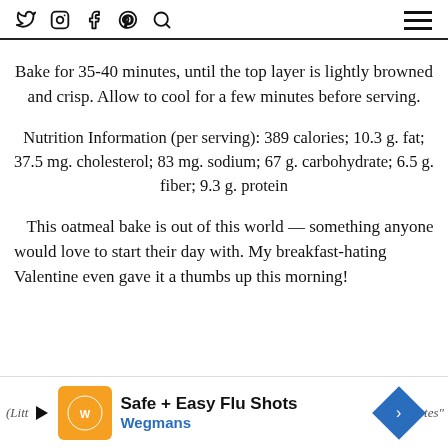Social icons: twitter, instagram, facebook, pinterest, search | hamburger menu
Bake for 35-40 minutes, until the top layer is lightly browned and crisp. Allow to cool for a few minutes before serving.
Nutrition Information (per serving): 389 calories; 10.3 g. fat; 37.5 mg. cholesterol; 83 mg. sodium; 67 g. carbohydrate; 6.5 g. fiber; 9.3 g. protein
This oatmeal bake is out of this world — something anyone would love to start their day with. My breakfast-hating Valentine even gave it a thumbs up this morning!
(Litt… tes"
[Figure (other): Wegmans advertisement banner: Safe + Easy Flu Shots]